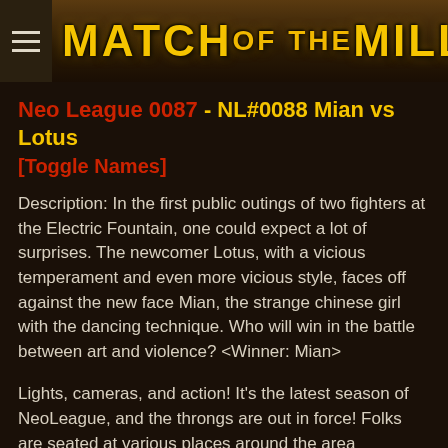MATCH OF THE MILLENNIUM
Neo League 0087 - NL#0088 Mian vs Lotus
[Toggle Names]
Description: In the first public outings of two fighters at the Electric Fountain, one could expect a lot of surprises. The newcomer Lotus, with a vicious temperament and even more vicious style, faces off against the new face Mian, the strange chinese girl with the dancing technique. Who will win in the battle between art and violence? <Winner: Mian>
Lights, cameras, and action! It's the latest season of NeoLeague, and the throngs are out in force! Folks are seated at various places around the area cordoned off for the fighters, some even brave enough to eat their evening meals